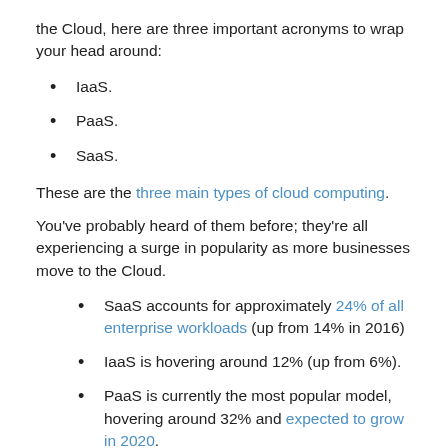the Cloud, here are three important acronyms to wrap your head around:
IaaS.
PaaS.
SaaS.
These are the three main types of cloud computing.
You've probably heard of them before; they're all experiencing a surge in popularity as more businesses move to the Cloud.
SaaS accounts for approximately 24% of all enterprise workloads (up from 14% in 2016)
IaaS is hovering around 12% (up from 6%).
PaaS is currently the most popular model, hovering around 32% and expected to grow in 2020.
With uptake rates like these, cloud computing is becoming the norm, and many businesses are phasing out on-